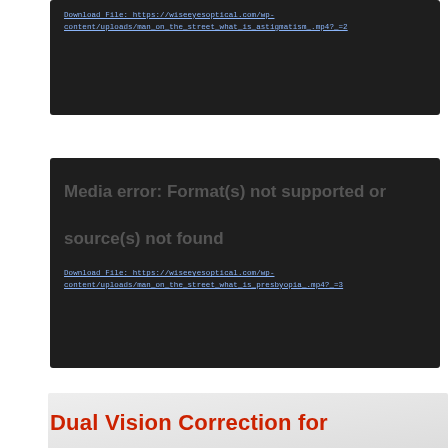[Figure (screenshot): Dark video player block with a download link for astigmatism video: Download File: https://wiseeyesoptical.com/wp-content/uploads/man_on_the_street_what_is_astigmatism_.mp4?_=2]
[Figure (screenshot): Dark video player block showing 'Media error: Format(s) not supported or source(s) not found' with a download link: Download File: https://wiseeyesoptical.com/wp-content/uploads/man_on_the_street_what_is_presbyopia_.mp4?_=3]
Dual Vision Correction for